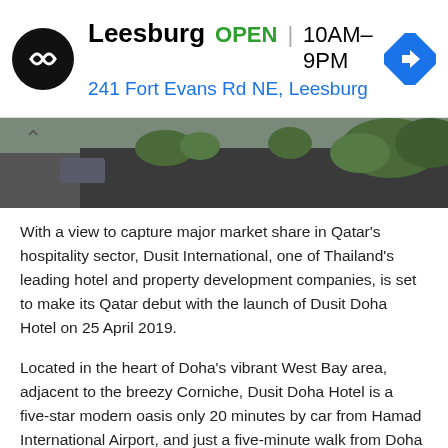[Figure (screenshot): Advertisement banner showing Leesburg store, OPEN 10AM-9PM, 241 Fort Evans Rd NE Leesburg, with navigation icon]
[Figure (photo): Exterior photo showing a road or parking area with trees and vegetation, partially visible at top of page]
With a view to capture major market share in Qatar's hospitality sector, Dusit International, one of Thailand's leading hotel and property development companies, is set to make its Qatar debut with the launch of Dusit Doha Hotel on 25 April 2019.
Located in the heart of Doha's vibrant West Bay area, adjacent to the breezy Corniche, Dusit Doha Hotel is a five-star modern oasis only 20 minutes by car from Hamad International Airport, and just a five-minute walk from Doha Exhibition and Convention Centre, the City centre Mall and The Gate Mall, making it a perfect stopover for business and leisure travellers alike.